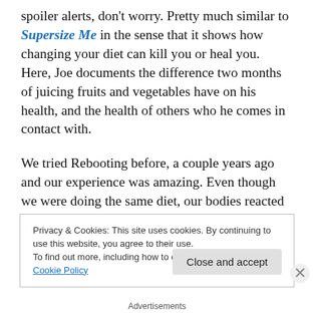spoiler alerts, don't worry. Pretty much similar to Supersize Me in the sense that it shows how changing your diet can kill you or heal you. Here, Joe documents the difference two months of juicing fruits and vegetables have on his health, and the health of others who he comes in contact with.

We tried Rebooting before, a couple years ago and our experience was amazing. Even though we were doing the same diet, our bodies reacted to it very differently.I suffered all the possible side effects:headaches,
Privacy & Cookies: This site uses cookies. By continuing to use this website, you agree to their use.
To find out more, including how to control cookies, see here: Cookie Policy
Close and accept
Advertisements